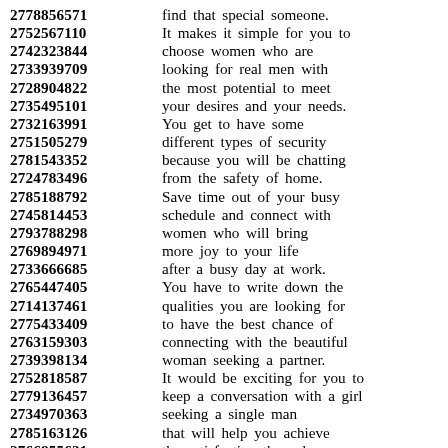2778856571 find that special someone.
2752567110 It makes it simple for you to
2742323844 choose women who are
2733939709 looking for real men with
2728904822 the most potential to meet
2735495101 your desires and your needs.
2732163991 You get to have some
2751505279 different types of security
2781543352 because you will be chatting
2724783496 from the safety of home.
2785188792 Save time out of your busy
2745814453 schedule and connect with
2793788298 women who will bring
2769894971 more joy to your life
2733666685 after a busy day at work.
2765447405 You have to write down the
2714137461 qualities you are looking for
2775433409 to have the best chance of
2763159303 connecting with the beautiful
2739398134 woman seeking a partner.
2752818587 It would be exciting for you to
2779136457 keep a conversation with a girl
2734970363 seeking a single man
2785163126 that will help you achieve
2766855631 the satisfaction through